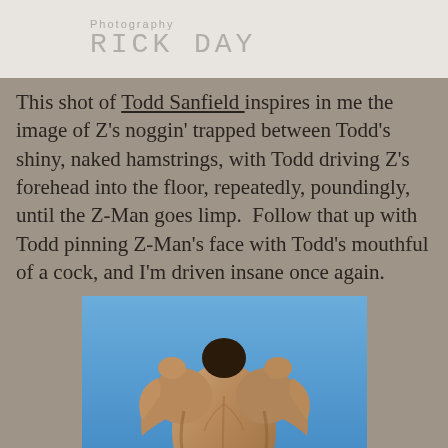Photography RICK DAY
This shot of Todd Sanfield inspires in me the image of Z's noggin' trapped between Todd's shiny, naked hamstrings, with Todd driving Z's forehead into the floor, repeatedly, poundingly, until the Z-Man goes limp.  Follow that up with Todd pinning Z-Man's face with Todd's mouthful of a cock, and I'm driven insane once again.
[Figure (photo): Muscular male bodybuilder photographed from behind against a blue sky, hands on head, wearing minimal swimwear, showcasing back and gluteal muscles.]